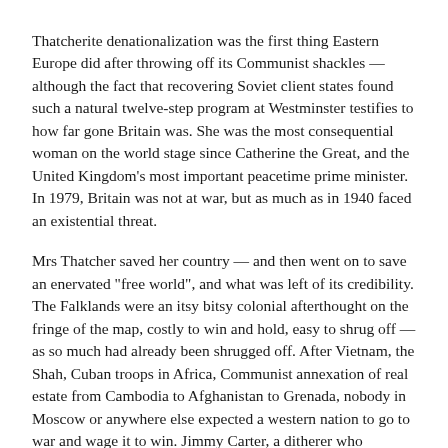Thatcherite denationalization was the first thing Eastern Europe did after throwing off its Communist shackles — although the fact that recovering Soviet client states found such a natural twelve-step program at Westminster testifies to how far gone Britain was. She was the most consequential woman on the world stage since Catherine the Great, and the United Kingdom's most important peacetime prime minister. In 1979, Britain was not at war, but as much as in 1940 faced an existential threat.
Mrs Thatcher saved her country — and then went on to save an enervated "free world", and what was left of its credibility. The Falklands were an itsy bitsy colonial afterthought on the fringe of the map, costly to win and hold, easy to shrug off — as so much had already been shrugged off. After Vietnam, the Shah, Cuban troops in Africa, Communist annexation of real estate from Cambodia to Afghanistan to Grenada, nobody in Moscow or anywhere else expected a western nation to go to war and wage it to win. Jimmy Carter, a ditherer who belatedly dispatched the helicopters to Iran only to have them crash in the desert and sit by as cocky mullahs poked the corpses of US servicemen on TV, embodied the "leader of the free world" as a smiling eunuch. Why in 1983 should the toothless arthritic British lion prove any more formidable?